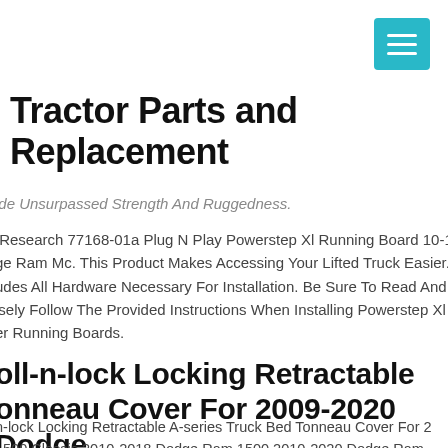[Figure (other): Teal/cyan hamburger menu button in top right corner]
Tractor Parts and Replacement
ide Unsurpassed Strength And Ruggedness.
Research 77168-01a Plug N Play Powerstep Xl Running Board 10-1 ge Ram Mc. This Product Makes Accessing Your Lifted Truck Easier. udes All Hardware Necessary For Installation. Be Sure To Read And isely Follow The Provided Instructions When Installing Powerstep Xl er Running Boards.
oll-n-lock Locking Retractable onneau Cover For 2009-2020 Dodge am 6.4' Bed
n-lock Locking Retractable A-series Truck Bed Tonneau Cover For 2 1500 Classic 2010-2018 Dodge Ram 1500 2010-2020 Dodge Ram